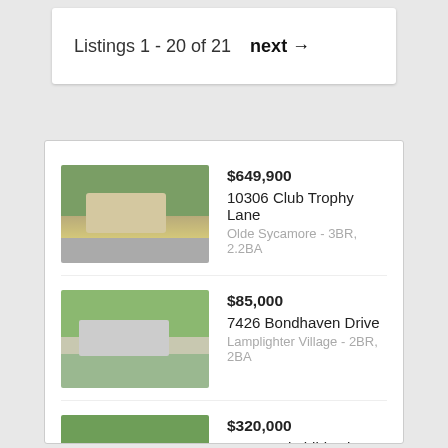Listings 1 - 20 of 21  next →
$649,900 | 10306 Club Trophy Lane | Olde Sycamore - 3BR, 2.2BA
$85,000 | 7426 Bondhaven Drive | Lamplighter Village - 2BR, 2BA
$320,000 | 6872 Rothchild Drive | The Preserve at Beverly Crest - 3BR, 2.1BA